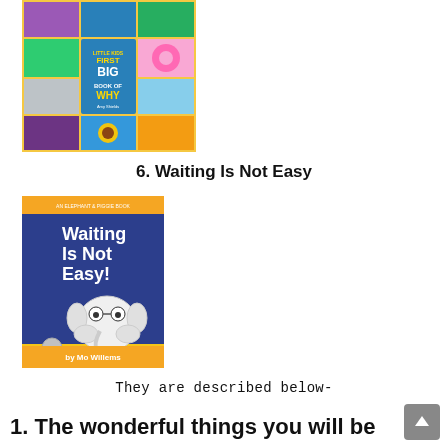[Figure (photo): Book cover of 'Little Kids First Big Book of Why' by National Geographic, showing colorful photo collage with animals, donuts, airplane, and sunflower on yellow background]
6. Waiting Is Not Easy
[Figure (photo): Book cover of 'Waiting Is Not Easy!' by Mo Willems, an Elephant & Piggie book, showing cartoon elephant with hands on face on blue and yellow cover]
They are described below-
1. The wonderful things you will be